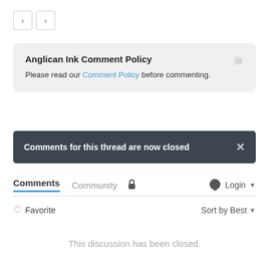[Figure (other): Navigation previous and next arrow buttons]
Anglican Ink Comment Policy
Please read our Comment Policy before commenting.
Comments for this thread are now closed
Comments   Community   🔒   💬 Login ▾
♡ Favorite   Sort by Best ▾
This discussion has been closed.